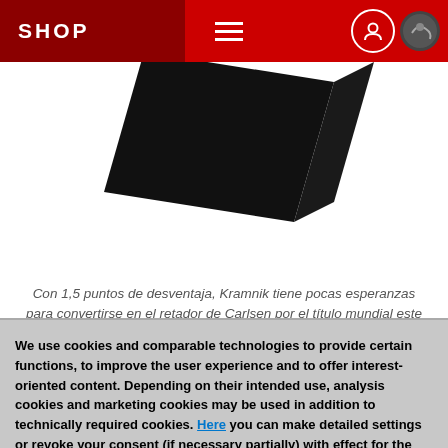SHOP
[Figure (photo): Dark angular product (chess book or box) on white background, partially cropped at top]
Con 1,5 puntos de desventaja, Kramnik tiene pocas esperanzas para convertirse en el retador de Carlsen por el título mundial este año
[Figure (other): Pagination indicator with black squares and a red bar]
We use cookies and comparable technologies to provide certain functions, to improve the user experience and to offer interest-oriented content. Depending on their intended use, analysis cookies and marketing cookies may be used in addition to technically required cookies. Here you can make detailed settings or revoke your consent (if necessary partially) with effect for the future. Further information can be found in our data protection declaration.